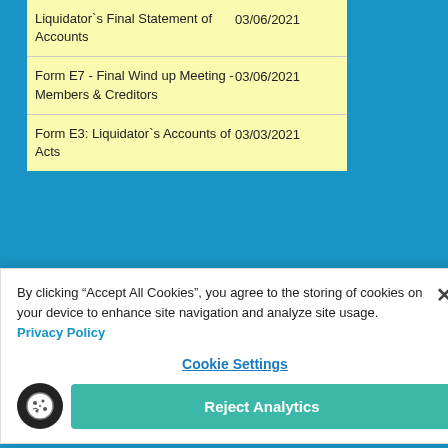| Document | Date |
| --- | --- |
| Liquidator`s Final Statement of Accounts | 03/06/2021 |
| Form E7 - Final Wind up Meeting - Members & Creditors | 03/06/2021 |
| Form E3: Liquidator`s Accounts of Acts | 03/03/2021 |
By clicking “Accept All Cookies”, you agree to the storing of cookies on your device to enhance site navigation and analyze site usage. Privacy Policy
Cookie Settings
Reject Analytics